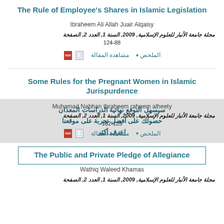The Rule of Employee's Shares in Islamic Legislation
Ibraheem Ali Allah Juair Alqaisy
مجلة جامعة الأنبار للعلوم الإسلامية, 2009, السنة 1, العدد 2, الصفحة 88-124
الملخص   مشاهدة المقالة
Some Rules for the Pregnant Women in Islamic Jurispurdence
Muhamad Nabhan Ibraheem raheem alheety
مجلة جامعة الأنبار للعلوم الإسلامية, 2009, السنة 1, العدد 2, الصفحة 125-182
الملخص   مشاهدة المقالة
سيسهل التوقع نهائية الدراسات المعدان
حصولك على أفضل تجربة على موقعنا
اعرف أكثر
The Public and Private Pledge of Allegiance
Wathiq Waleed Khamas
مجلة جامعة الأنبار للعلوم الإسلامية, 2009, السنة 1, العدد 2, الصفحة